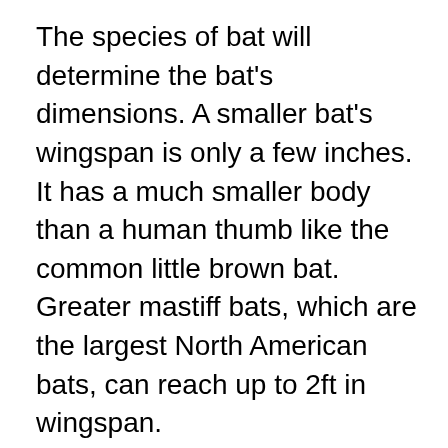The species of bat will determine the bat's dimensions. A smaller bat's wingspan is only a few inches. It has a much smaller body than a human thumb like the common little brown bat. Greater mastiff bats, which are the largest North American bats, can reach up to 2ft in wingspan.
Each year, a female bat will produce one child. North America's bats breed at the end of summer, early autumn and then give birth during the first part of the year. These bats live up to 30 years in nature.